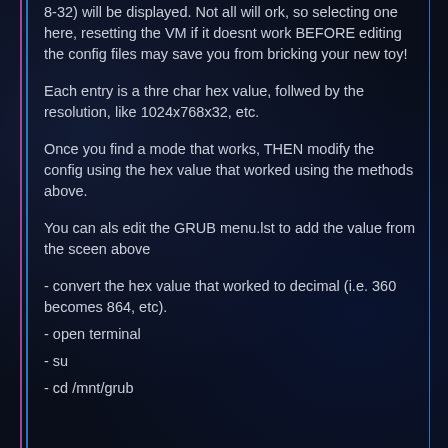8-32) will be displayed. Not all will ork, so selecting one here, resetting the VM if it doesnt work BEFORE editing the config files may save you from bricking your new toy!
Each entry is a thre char hex value, follwed by the resolution, like 1024x768x32, etc.
Once you find a mode that works, THEN modify the config using the hex value that worked using the methods above.
You can als edit the GRUB menu.lst to add the value from the sceen above
- convert the hex value that worked to decimal (i.e. 360 becomes 864, etc).
- open terminal
- su
- cd /mnt/grub